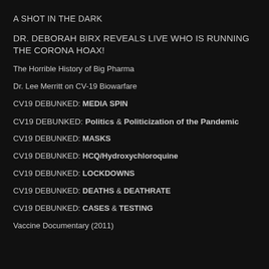A SHOT IN THE DARK
DR. DEBORAH BIRX REVEALS LIVE WHO IS RUNNING THE CORONA HOAX!
The Horrible History of Big Pharma
Dr. Lee Merritt on CV-19 Biowarfare
CV19 DEBUNKED: MEDIA SPIN
CV19 DEBUNKED: Politics & Politicization of the Pandemic
CV19 DEBUNKED: MASKS
CV19 DEBUNKED: HCQ/Hydroxychloroquine
CV19 DEBUNKED: LOCKDOWNS
CV19 DEBUNKED: DEATHS & DEATHRATE
CV19 DEBUNKED: CASES & TESTING
Vaccine Documentary (2011)